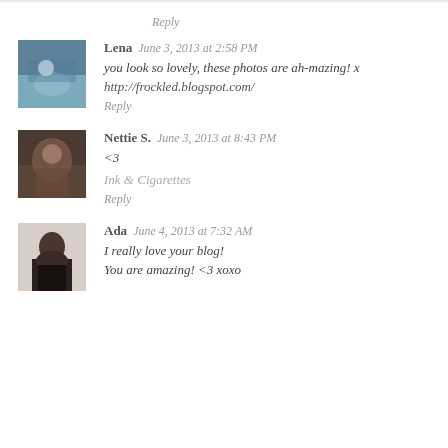Reply
Lena  June 3, 2013 at 2:58 PM
you look so lovely, these photos are ah-mazing! x
http://frockled.blogspot.com/
Reply
Nettie S.  June 3, 2013 at 8:43 PM
<3
Ink & Cigarettes
Reply
Ada  June 4, 2013 at 7:32 AM
I really love your blog!
You are amazing! <3 xoxo